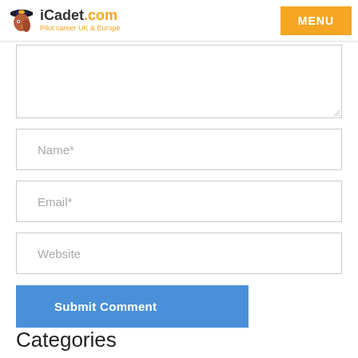iCadet.com — Pilot career UK & Europe | MENU
Name*
Email*
Website
Submit Comment
Categories